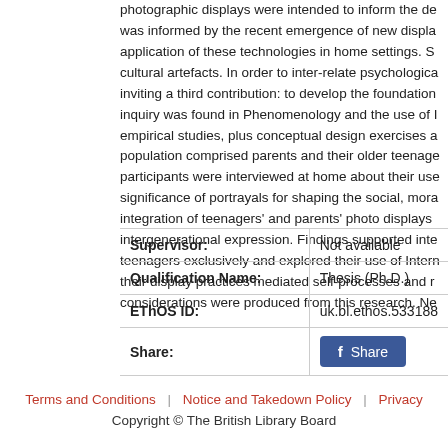photographic displays were intended to inform the de... was informed by the recent emergence of new displa... application of these technologies in home settings. S... cultural artefacts. In order to inter-relate psychologica... inviting a third contribution: to develop the foundation... inquiry was found in Phenomenology and the use of I... empirical studies, plus conceptual design exercises a... population comprised parents and their older teenage... participants were interviewed at home about their use... significance of portrayals for shaping the social, mora... integration of teenagers' and parents' photo displays... intergenerational expression. Findings supported inte... teenagers exclusively and explored their use of Intern... their display practices mediated self-processes and r... considerations were produced from this research. Ne...
| Field | Value |
| --- | --- |
| Supervisor: | Not available |
| Qualification Name: | Thesis (Ph.D.) |
| EThOS ID: | uk.bl.ethos.533188 |
| Share: | [Share button] |
Terms and Conditions | Notice and Takedown Policy | Privacy
Copyright © The British Library Board